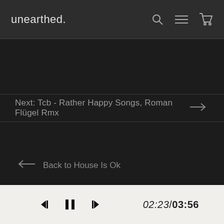unearthed.
Next: Tcb - Rather Happy Songs, Roman Flügel Rmx →
← Back to House Is Ok
02:23/03:56